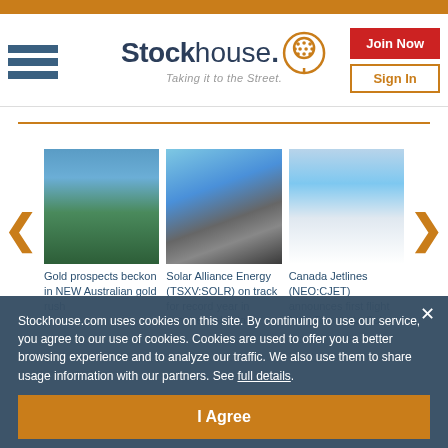[Figure (logo): Stockhouse logo with tagline 'Taking it to the Street.']
Join Now
Sign In
[Figure (photo): Mountain landscape for Gold prospects article]
Gold prospects beckon in NEW Australian gold rush
[Figure (photo): Person on solar panels for Solar Alliance Energy article]
Solar Alliance Energy (TSXV:SOLR) on track for record year in commercial solar
[Figure (photo): Airplane for Canada Jetlines article]
Canada Jetlines (NEO:CJET) announces first flight from Toronto to Cal…
Stockhouse.com uses cookies on this site. By continuing to use our service, you agree to our use of cookies. Cookies are used to offer you a better browsing experience and to analyze our traffic. We also use them to share usage information with our partners. See full details.
I Agree